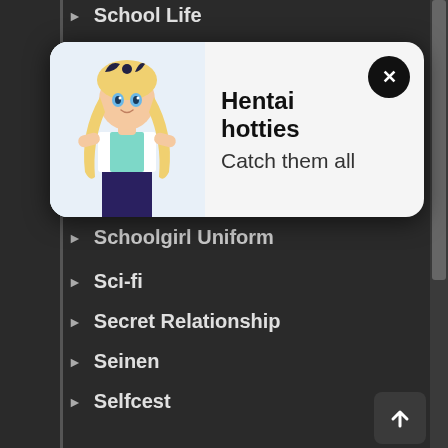▶ School Life
[Figure (illustration): Popup card with anime girl character illustration. Title: 'Hentai hotties', subtitle: 'Catch them all'. Has a close (x) button in top-right corner.]
▶ Schoolgirl Uniform
▶ Sci-fi
▶ Secret Relationship
▶ Seinen
▶ Selfcest
▶ Sex Toys
▶ Shared Senses
▶ Shark Girl
▶ Shaved Head
▶ Sheep Girl